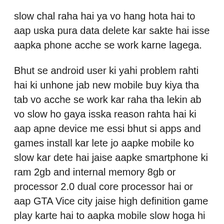slow chal raha hai ya vo hang hota hai to aap uska pura data delete kar sakte hai isse aapka phone acche se work karne lagega.
Bhut se android user ki yahi problem rahti hai ki unhone jab new mobile buy kiya tha tab vo acche se work kar raha tha lekin ab vo slow ho gaya isska reason rahta hai ki aap apne device me essi bhut si apps and games install kar lete jo aapke mobile ko slow kar dete hai jaise aapke smartphone ki ram 2gb and internal memory 8gb or processor 2.0 dual core processor hai or aap GTA Vice city jaise high definition game play karte hai to aapka mobile slow hoga hi
issi tarah aapke mobile me bhut si apps ka data store ho jata hai jo aapke mobile  ki speed ko slow kar deta hai or vo hang hone lagta hai. maine apni pichli post me smartphone  ko reset karne ka tarika bataya tha aap apne mobile ko reset karne ke liye usi tarika apna lijiye or aapka